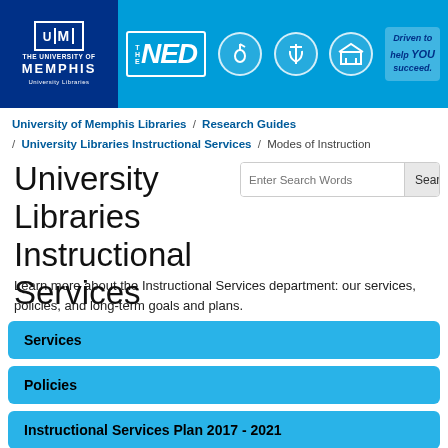[Figure (logo): University of Memphis Libraries header banner with NED logo, music note icon, health sciences icon, library icon, and 'Driven to help YOU succeed' mascot graphic on blue background]
University of Memphis Libraries / Research Guides / University Libraries Instructional Services / Modes of Instruction
University Libraries Instructional Services
Learn more about the Instructional Services department: our services, policies, and long-term goals and plans.
Services
Policies
Instructional Services Plan 2017 - 2021
Introduction and Purpose of Instructional Plan
Departmental Priorities